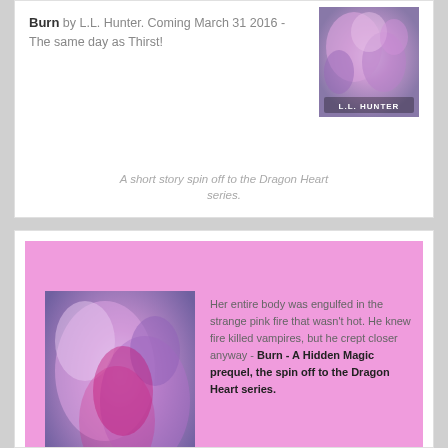Burn by L.L. Hunter. Coming March 31 2016 - The same day as Thirst!
[Figure (illustration): Book cover for Burn by L.L. Hunter - purple/pink floral abstract with author name]
A short story spin off to the Dragon Heart series.
[Figure (illustration): Book cover for Burn by L.L. Hunter - pink and purple abstract with woman and BURN title text]
Her entire body was engulfed in the strange pink fire that wasn't hot. He knew fire killed vampires, but he crept closer anyway - Burn - A Hidden Magic prequel, the spin off to the Dragon Heart series.